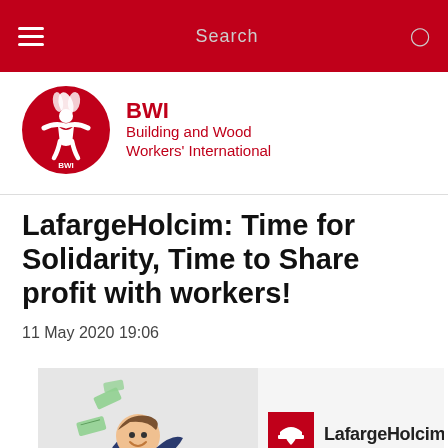Search
[Figure (logo): BWI Building and Wood Workers' International logo — red circle with white figure and flame]
LafargeHolcim: Time for Solidarity, Time to Share profit with workers!
11 May 2020 19:06
[Figure (illustration): Promotional banner illustration showing a person surrounded by flying banknotes wearing a yellow cape, next to the LafargeHolcim logo and text 'The price of profit 2015-2019']